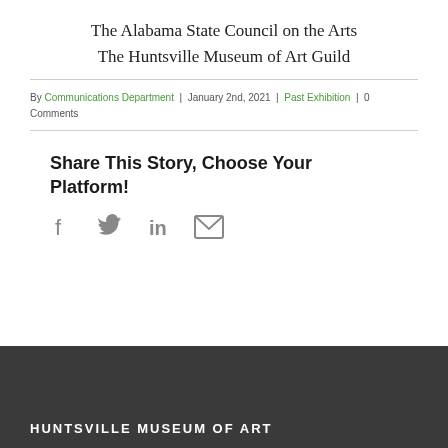The Alabama State Council on the Arts
The Huntsville Museum of Art Guild
By Communications Department | January 2nd, 2021 | Past Exhibition | 0 Comments
Share This Story, Choose Your Platform!
[Figure (infographic): Social sharing icons: Facebook, Twitter, LinkedIn, Email]
HUNTSVILLE MUSEUM OF ART